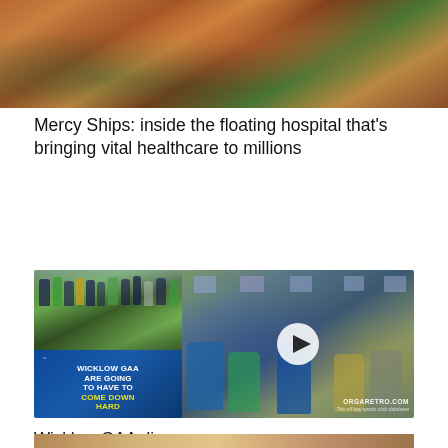[Figure (photo): Close-up photo of a person (appears to be African) covering face with hands, wearing colorful clothing]
Mercy Ships: inside the floating hospital that’s bringing vital healthcare to millions
[Figure (photo): Composite image showing GAA brawl on a pitch - left side shows crowd fighting outdoors on grass, lower left has blue graphic overlay reading 'WICKLOW GAA ARE GOING TO HAVE TO COME DOWN HARD' in white/yellow text; right side shows blurred faces of people fighting with play button overlay and ORGARETRO.COM watermark]
Wicklow GAA disgrace — “What sort of headspace do you have to be in to instigate this?”
[Figure (photo): Partial photo strip at bottom showing person, cropped]